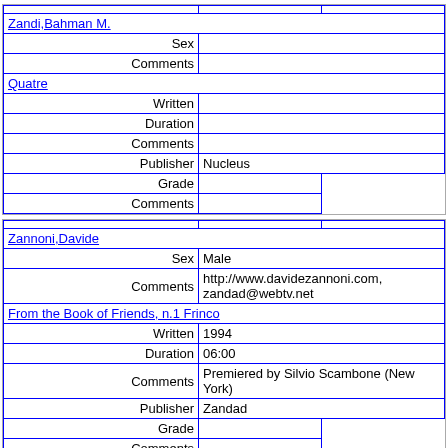| Zandi,Bahman M. |  |  |
| Sex |  |
| Comments |  |
| Quatre |  |
| Written |  |
| Duration |  |
| Comments |  |
| Publisher | Nucleus |
| Grade |  |
| Comments |  |
| Zannoni,Davide |  |  |
| Sex | Male |
| Comments | http://www.davidezannoni.com, zandad@webtv.net |
| From the Book of Friends, n.1 Frinco |  |
| Written | 1994 |
| Duration | 06:00 |
| Comments | Premiered by Silvio Scambone (New York) |
| Publisher | Zandad |
| Grade |  |
| Comments |  |